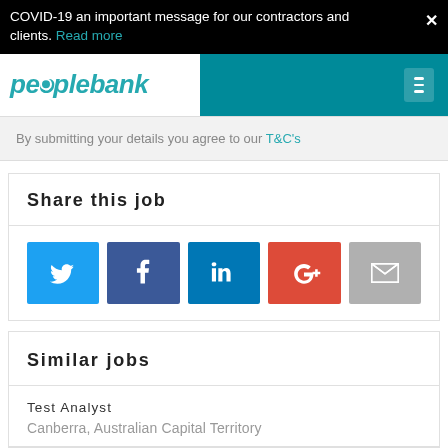COVID-19 an important message for our contractors and clients. Read more
[Figure (logo): Peoplebank logo with teal italic text and navigation hamburger menu on teal background]
By submitting your details you agree to our T&C's
Share this job
[Figure (infographic): Social sharing buttons: Twitter (blue), Facebook (dark blue), LinkedIn (blue), Google+ (red-orange), Email (grey)]
Similar jobs
Test Analyst
Canberra, Australian Capital Territory